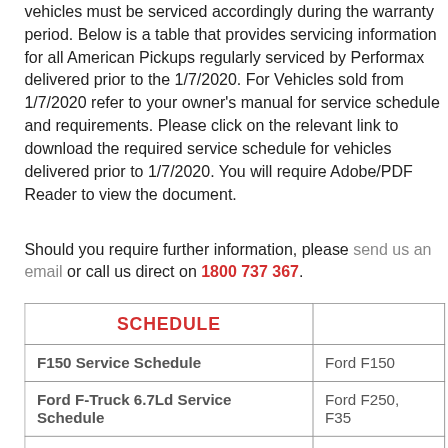vehicles must be serviced accordingly during the warranty period. Below is a table that provides servicing information for all American Pickups regularly serviced by Performax delivered prior to the 1/7/2020. For Vehicles sold from 1/7/2020 refer to your owner's manual for service schedule and requirements. Please click on the relevant link to download the required service schedule for vehicles delivered prior to 1/7/2020. You will require Adobe/PDF Reader to view the document.
Should you require further information, please send us an email or call us direct on 1800 737 367.
| SCHEDULE |  |
| --- | --- |
| F150 Service Schedule | Ford F150 |
| Ford F-Truck 6.7Ld Service Schedule | Ford F250, F350 |
| Chevrolet 6.6 Duramax Service Schedule | Chevrolet S... 2500, 3500... |
| Nissan Titan 5.8l Cummins Service... |  |